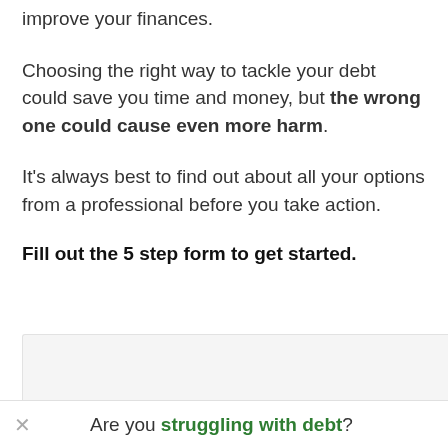improve your finances.
Choosing the right way to tackle your debt could save you time and money, but the wrong one could cause even more harm.
It's always best to find out about all your options from a professional before you take action.
Fill out the 5 step form to get started.
[Figure (other): A light grey form box area partially visible]
Are you struggling with debt?